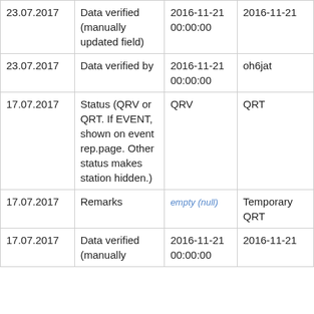| 23.07.2017 | Data verified (manually updated field) | 2016-11-21 00:00:00 | 2016-11-21 |
| 23.07.2017 | Data verified by | 2016-11-21 00:00:00 | oh6jat |
| 17.07.2017 | Status (QRV or QRT. If EVENT, shown on event rep.page. Other status makes station hidden.) | QRV | QRT |
| 17.07.2017 | Remarks | empty (null) | Temporary QRT |
| 17.07.2017 | Data verified (manually... | 2016-11-21 00:00:00 | 2016-11-21 |